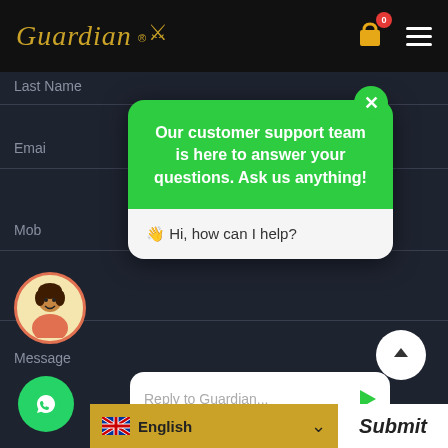[Figure (screenshot): Guardian brand logo in gold italic script with a martial arts figure icon and registered trademark symbol on black background header, with shopping cart icon with red badge showing 0, and hamburger menu icon]
Last Name
[Figure (screenshot): Green chat popup with close X button, header text: Our customer support team is here to answer your questions. Ask us anything!, and chat body with waving hand emoji: Hi, how can I help?]
Our customer support team is here to answer your questions. Ask us anything!
👋 Hi, how can I help?
Email
Mob
Message
Reply to Guardian...
Submit
English